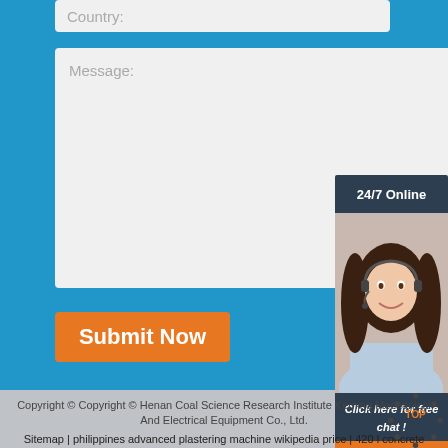Country:
Message:
Submit Now
[Figure (illustration): 24/7 Online customer support chat widget with a woman wearing a headset, dark header bar, 'Click here for free chat!' text, and orange QUOTATION button.]
Copyright © Copyright © Henan Coal Science Research Institute Keming Mechanical And Electrical Equipment Co., Ltd. | Sitemap | philippines advanced plastering machine wikipedia price | 420 l concrete mixer in north america | pneumatic pump price in india